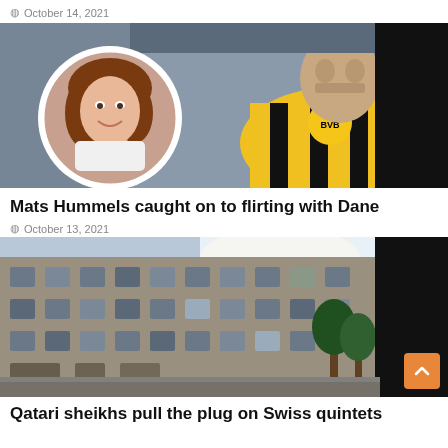October 14, 2021
[Figure (photo): Composite photo of a smiling woman in a circular inset over a soccer player in a yellow BVB Borussia Dortmund jersey]
Mats Hummels caught on to flirting with Dane
October 13, 2021
[Figure (photo): Photo of a large stone apartment building with trees in front, partially obscured by a black rectangle on the right]
Qatari sheikhs pull the plug on Swiss quintets